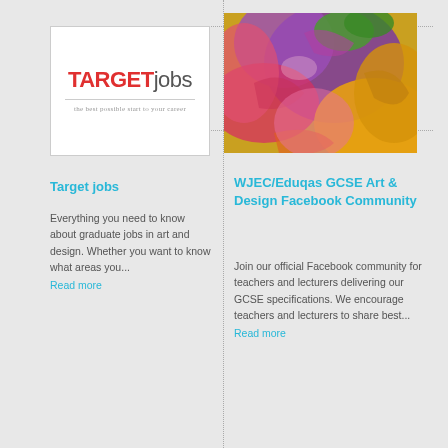[Figure (logo): TARGETjobs logo with tagline 'the best possible start to your career']
[Figure (photo): Colorful abstract art painting with purple, yellow, pink, green paint strokes]
Target jobs
Everything you need to know about graduate jobs in art and design. Whether you want to know what areas you...
Read more
WJEC/Eduqas GCSE Art & Design Facebook Community
Join our official Facebook community for teachers and lecturers delivering our GCSE specifications. We encourage teachers and lecturers to share best...
Read more